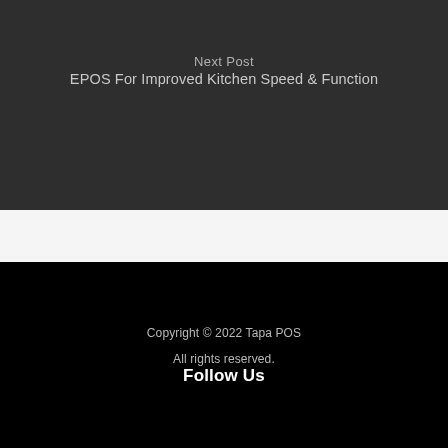Next Post
EPOS For Improved Kitchen Speed & Function
Copyright © 2022 Tapa POS
All rights reserved.
Follow Us